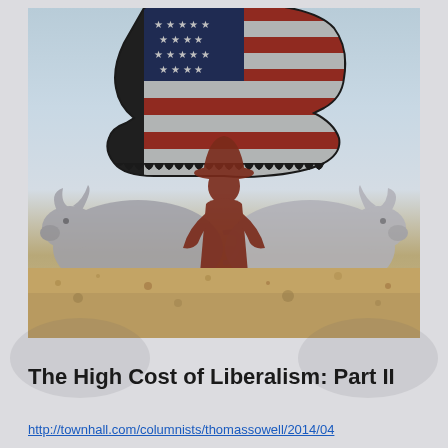[Figure (illustration): Illustration showing a large boot with American flag pattern (stars and stripes) descending from above, a silhouette of a man wearing a cowboy hat standing in the center, flanked by two bull/cattle silhouettes on either side. The scene is set against a light blue sky background with sandy/earthy ground at the bottom.]
The High Cost of Liberalism: Part II
http://townhall.com/columnists/thomassowell/2014/04